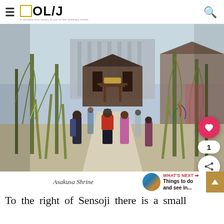OL/J — A window into luxury & out of the ordinary travel
[Figure (photo): Asakusa Shrine pathway with willow-decorated bamboo poles, visitors in traditional and casual dress walking toward a torii gate, with a temple building visible in the background. Red-shirted photographer in foreground.]
Asakusa Shrine
WHAT'S NEXT → Things to do and see in...
To the right of Sensoji there is a small